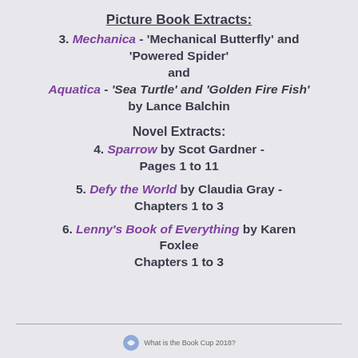Picture Book Extracts:
3. Mechanica - 'Mechanical Butterfly' and 'Powered Spider' and Aquatica - 'Sea Turtle' and 'Golden Fire Fish' by Lance Balchin
Novel Extracts:
4. Sparrow by Scot Gardner - Pages 1 to 11
5. Defy the World by Claudia Gray - Chapters 1 to 3
6. Lenny's Book of Everything by Karen Foxlee Chapters 1 to 3
What is the Book Cup 2018?